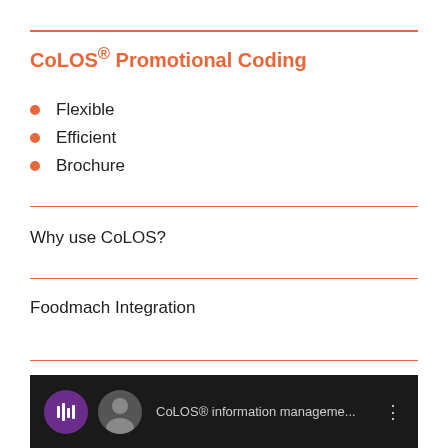CoLOS® Promotional Coding
Flexible
Efficient
Brochure
Why use CoLOS?
Foodmach Integration
[Figure (screenshot): Dark video thumbnail showing CoLOS® information management logo with a purple circular icon and a person silhouette, with text 'CoLOS® information manageme...' and a menu icon on the right.]